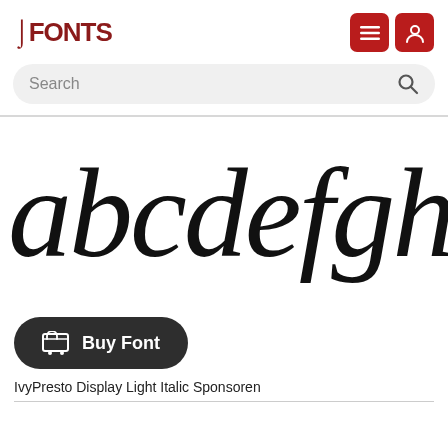FFONTS
Search
[Figure (illustration): Large italic serif font preview showing 'abcdefghij' in a light italic display typeface, partially cropped on the right]
Buy Font
IvyPresto Display Light Italic Sponsoren